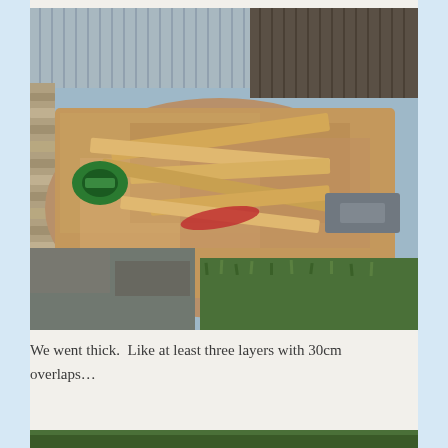[Figure (photo): Outdoor construction scene showing a flat area covered with multiple overlapping layers of cardboard/paper material, with lumber boards laid on top. A green power tool (circular saw) is visible on the left. The area is bordered by stone/brick edging and surrounded by grass. A corrugated metal shed or fence is in the background.]
We went thick.  Like at least three layers with 30cm overlaps…
[Figure (photo): Bottom portion of another photo, partially visible, showing green garden or outdoor scene.]